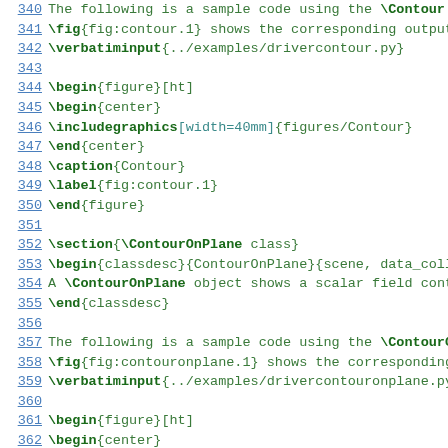340  The following is a sample code using the \Contour c
341  \fig{fig:contour.1} shows the corresponding output.
342  \verbatiminput{../examples/drivercontour.py}
343
344  \begin{figure}[ht]
345  \begin{center}
346  \includegraphics[width=40mm]{figures/Contour}
347  \end{center}
348  \caption{Contour}
349  \label{fig:contour.1}
350  \end{figure}
351
352  \section{\ContourOnPlane class}
353  \begin{classdesc}{ContourOnPlane}{scene, data_colle
354  A \ContourOnPlane object shows a scalar field conto
355  \end{classdesc}
356
357  The following is a sample code using the \ContourOn
358  \fig{fig:contouronplane.1} shows the corresponding
359  \verbatiminput{../examples/drivercontouronplane.py}
360
361  \begin{figure}[ht]
362  \begin{center}